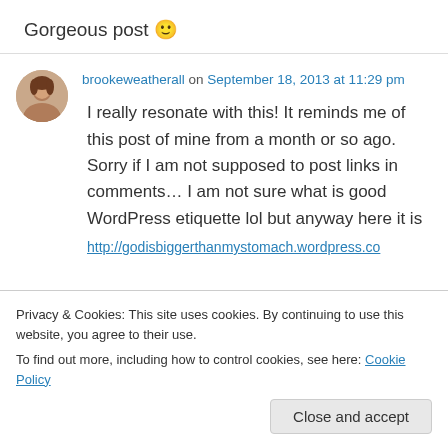Gorgeous post 🙂
brookeweatherall on September 18, 2013 at 11:29 pm
I really resonate with this! It reminds me of this post of mine from a month or so ago. Sorry if I am not supposed to post links in comments… I am not sure what is good WordPress etiquette lol but anyway here it is
http://godisbiggerthanmystomach.wordpress.co
Privacy & Cookies: This site uses cookies. By continuing to use this website, you agree to their use.
To find out more, including how to control cookies, see here: Cookie Policy
Close and accept